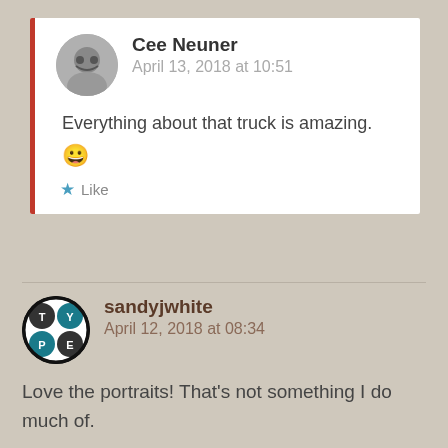Cee Neuner
April 13, 2018 at 10:51
Everything about that truck is amazing. 😀
Like
sandyjwhite
April 12, 2018 at 08:34
Love the portraits! That's not something I do much of.
Like